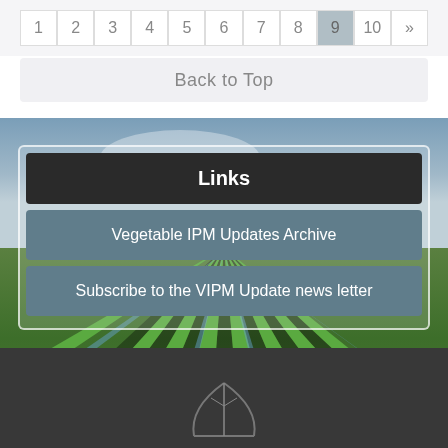| 1 | 2 | 3 | 4 | 5 | 6 | 7 | 8 | 9 | 10 | » |
| --- | --- | --- | --- | --- | --- | --- | --- | --- | --- | --- |
|  |
Back to Top
Links
Vegetable IPM Updates Archive
Subscribe to the VIPM Update news letter
[Figure (photo): Agricultural field with rows of green leafy vegetables (lettuce) under a cloudy sky, viewed in perspective]